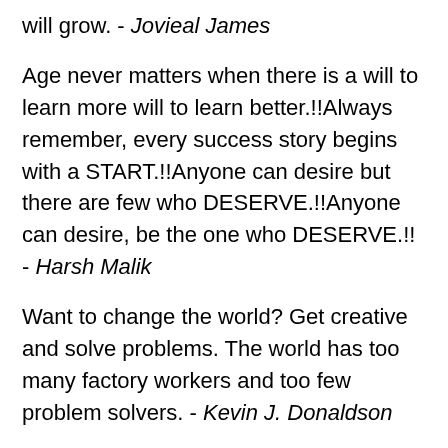will grow. - Jovieal James
Age never matters when there is a will to learn more will to learn better.!!Always remember, every success story begins with a START.!!Anyone can desire but there are few who DESERVE.!!Anyone can desire, be the one who DESERVE.!! - Harsh Malik
Want to change the world? Get creative and solve problems. The world has too many factory workers and too few problem solvers. - Kevin J. Donaldson
I know I am getting better at golf because I am hitting fewer spectators. - Gerald R. Ford